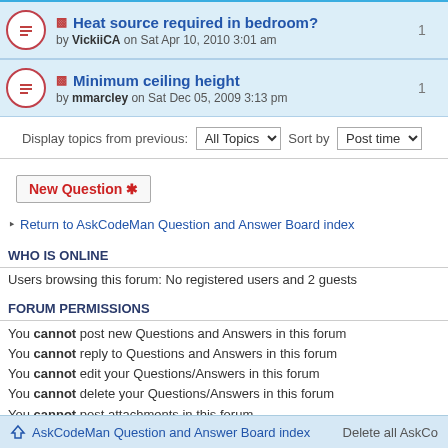Heat source required in bedroom? by VickiiCA on Sat Apr 10, 2010 3:01 am — replies: 1
Minimum ceiling height by mmarcley on Sat Dec 05, 2009 3:13 pm — replies: 1
Display topics from previous: All Topics  Sort by  Post time
New Question *
Return to AskCodeMan Question and Answer Board index
WHO IS ONLINE
Users browsing this forum: No registered users and 2 guests
FORUM PERMISSIONS
You cannot post new Questions and Answers in this forum
You cannot reply to Questions and Answers in this forum
You cannot edit your Questions/Answers in this forum
You cannot delete your Questions/Answers in this forum
You cannot post attachments in this forum
AskCodeMan Question and Answer Board index    Delete all AskCo…